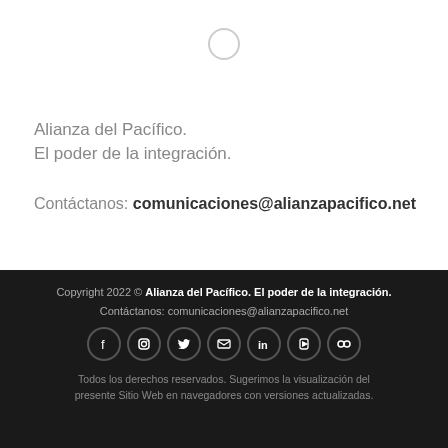[Figure (logo): Small circular logo/icon at top center]
Alianza del Pacífico.
El poder de la integración.
Contáctanos: comunicaciones@alianzapacifico.net
Copyright 2022 © Alianza del Pacífico. El poder de la integración.
Contáctanos: comunicaciones@alianzapacifico.net
[Social icons: Facebook, Instagram, Twitter, Email, LinkedIn, YouTube, Flickr]
Todos los derechos reservados. Sugerimos la visualización del presente Sitio Web en navegadores con versiones actualizadas.